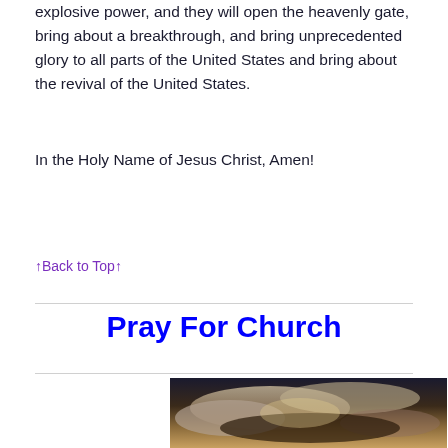explosive power, and they will open the heavenly gate, bring about a breakthrough, and bring unprecedented glory to all parts of the United States and bring about the revival of the United States.
In the Holy Name of Jesus Christ, Amen!
↑Back to Top↑
Pray For Church
[Figure (photo): A dramatic sky with clouds, dark and light contrast, likely a stormy or dramatic sky scene.]